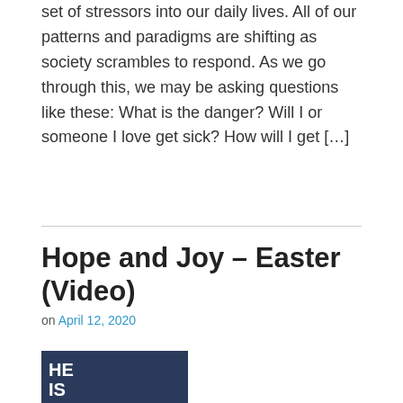set of stressors into our daily lives. All of our patterns and paradigms are shifting as society scrambles to respond. As we go through this, we may be asking questions like these: What is the danger? Will I or someone I love get sick? How will I get […]
Hope and Joy – Easter (Video)
on April 12, 2020
[Figure (photo): Thumbnail image with dark blue/cloudy sky background and white text reading 'HE IS' visible]